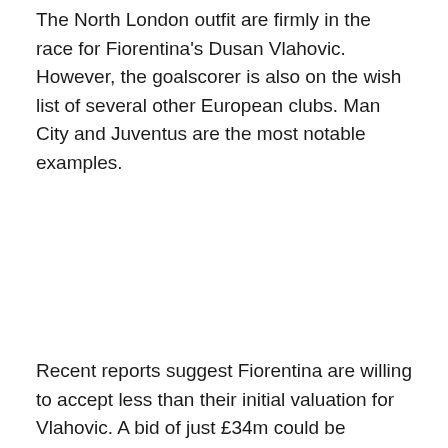The North London outfit are firmly in the race for Fiorentina's Dusan Vlahovic. However, the goalscorer is also on the wish list of several other European clubs. Man City and Juventus are the most notable examples.
Recent reports suggest Fiorentina are willing to accept less than their initial valuation for Vlahovic. A bid of just £34m could be enough to bring him to England.
Spurs are also considering their goalkeeper options. With